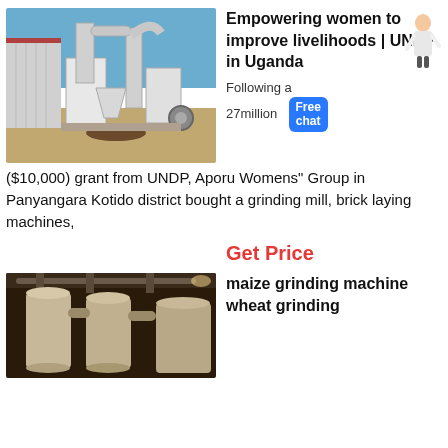[Figure (photo): Industrial grinding mill machine outdoors, white metal equipment with pipes and silos, blue sky, red-roofed building in background]
Empowering women to improve livelihoods | UNDP in Uganda
Following a 27million
($10,000) grant from UNDP, Aporu Womens" Group in Panyangara Kotido district bought a grinding mill, brick laying machines,
Get Price
[Figure (photo): Industrial pipe and duct work of a grinding machine, interior shot, beige/grey pipes, dark background]
maize grinding machine wheat grinding